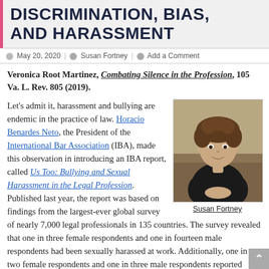DISCRIMINATION, BIAS, AND HARASSMENT
May 20, 2020 | Susan Fortney | Add a Comment
Veronica Root Martinez, Combating Silence in the Profession, 105 Va. L. Rev. 805 (2019).
[Figure (photo): Portrait photo of Susan Fortney, a woman with curly brown hair wearing a dark sleeveless top, seated with hands clasped, with caption 'Susan Fortney']
Let's admit it, harassment and bullying are endemic in the practice of law. Horacio Benardes Neto, the President of the International Bar Association (IBA), made this observation in introducing an IBA report, called Us Too: Bullying and Sexual Harassment in the Legal Profession. Published last year, the report was based on findings from the largest-ever global survey of nearly 7,000 legal professionals in 135 countries. The survey revealed that one in three female respondents and one in fourteen male respondents had been sexually harassed at work. Additionally, one in two female respondents and one in three male respondents reported being bullied at work.